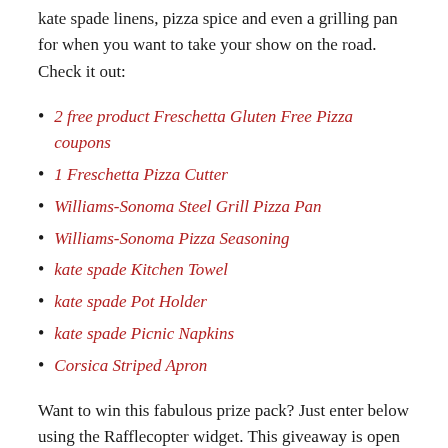kate spade linens, pizza spice and even a grilling pan for when you want to take your show on the road. Check it out:
2 free product Freschetta Gluten Free Pizza coupons
1 Freschetta Pizza Cutter
Williams-Sonoma Steel Grill Pizza Pan
Williams-Sonoma Pizza Seasoning
kate spade Kitchen Towel
kate spade Pot Holder
kate spade Picnic Napkins
Corsica Striped Apron
Want to win this fabulous prize pack? Just enter below using the Rafflecopter widget. This giveaway is open to U.S. residents only.